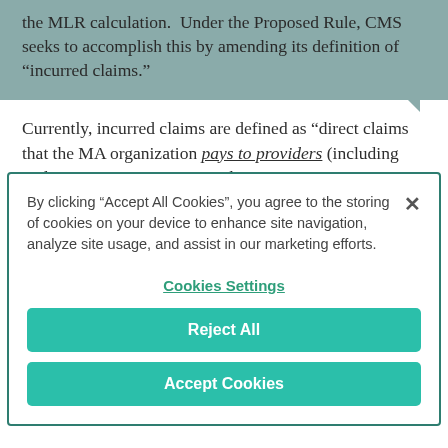the MLR calculation. Under the Proposed Rule, CMS seeks to accomplish this by amending its definition of “incurred claims.”
Currently, incurred claims are defined as “direct claims that the MA organization pays to providers (including under capitation contracts with
By clicking “Accept All Cookies”, you agree to the storing of cookies on your device to enhance site navigation, analyze site usage, and assist in our marketing efforts.
Cookies Settings
Reject All
Accept Cookies